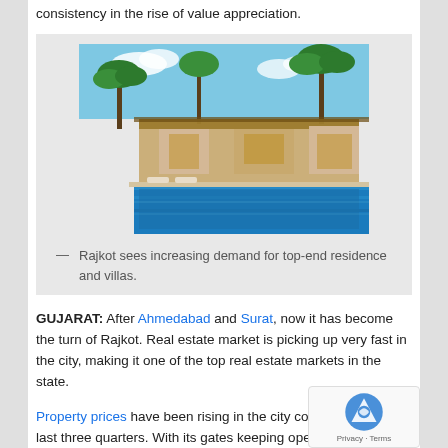consistency in the rise of value appreciation.
[Figure (photo): Luxury villa with swimming pool surrounded by palm trees and lush greenery, showing a top-end residential property in Rajkot.]
— Rajkot sees increasing demand for top-end residence and villas.
GUJARAT: After Ahmedabad and Surat, now it has become the turn of Rajkot. Real estate market is picking up very fast in the city, making it one of the top real estate markets in the state.
Property prices have been rising in the city consistently for the last three quarters. With its gates keeping open to the IT and ITeS companies, the city expects to provide more jobs to the people. The demand for housing units will be